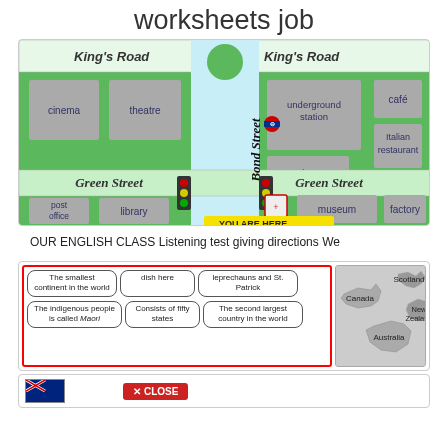worksheets job
[Figure (illustration): Street map showing King's Road, Green Street, and Bond Street with locations: cinema, theatre, underground station, café, Italian restaurant, shop, post office, library, museum, factory. Traffic lights at intersection. 'You Are Here' marker at bottom.]
OUR ENGLISH CLASS Listening test giving directions We
[Figure (illustration): Educational worksheet with rounded boxes containing text: 'The smallest continent in the world', 'dish here', 'leprechauns and St. Patrick', 'The indigenous people is called Maori', 'Consists of fifty states', 'The second largest country in the world'. Right side shows a map with Scotland, Canada, New Zealand, Australia labels.]
[Figure (illustration): Bottom strip showing a New Zealand flag and a red CLOSE button with X icon.]